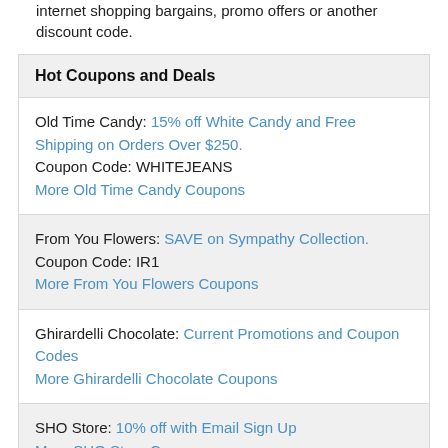internet shopping bargains, promo offers or another discount code.
Hot Coupons and Deals
Old Time Candy: 15% off White Candy and Free Shipping on Orders Over $250.
Coupon Code: WHITEJEANS
More Old Time Candy Coupons
From You Flowers: SAVE on Sympathy Collection.
Coupon Code: IR1
More From You Flowers Coupons
Ghirardelli Chocolate: Current Promotions and Coupon Codes
More Ghirardelli Chocolate Coupons
SHO Store: 10% off with Email Sign Up
More SHO Store Coupons